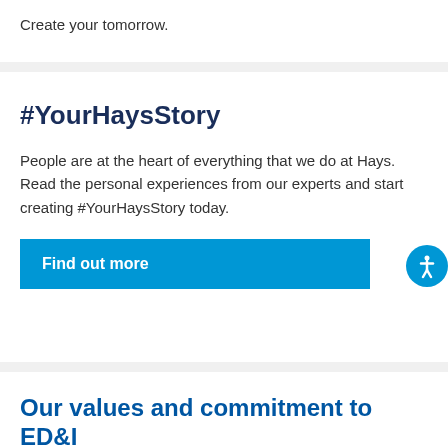Create your tomorrow.
#YourHaysStory
People are at the heart of everything that we do at Hays. Read the personal experiences from our experts and start creating #YourHaysStory today.
Find out more
Our values and commitment to ED&I
As our business grows, when we recruit new talent